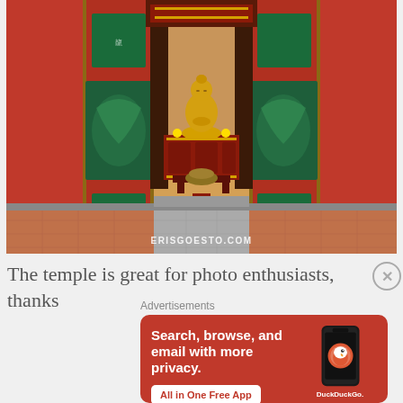[Figure (photo): Interior view of a Chinese Buddhist temple with ornate red doors open, revealing a golden Buddha statue seated on an altar with red decorative table, painted panels on doors showing dragons and mountains, terracotta tiled floor in foreground. Watermark reads ERISGOESTO.COM]
The temple is great for photo enthusiasts, thanks
Advertisements
[Figure (infographic): DuckDuckGo advertisement banner with orange/red background. Text: 'Search, browse, and email with more privacy. All in One Free App' with DuckDuckGo logo and phone image showing the app.]